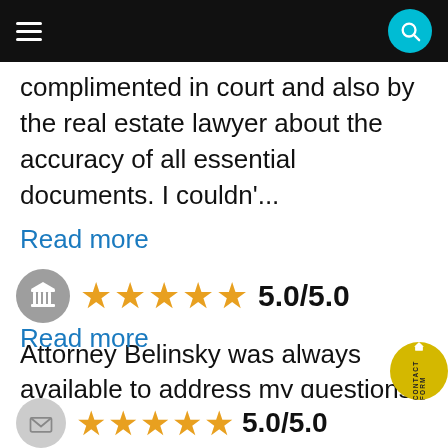Navigation bar
complimented in court and also by the real estate lawyer about the accuracy of all essential documents. I couldn'...
Read more
[Figure (other): Gray avatar circle with column/building icon, followed by 5 orange stars and rating score 5.0/5.0]
Attorney Belinsky was always available to address my questions and provide the legal advice needed to deal with an area of law that was unfamiliar to me and is very emotional. She did so professionally and made sure that all areas were addressed lea...
Read more
[Figure (other): Gray avatar circle with envelope icon, followed by 5 orange stars and partial rating score 5.0/5.0]